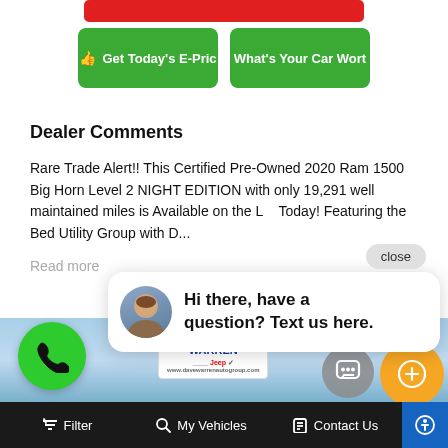[Figure (screenshot): Red button at top (partially visible), two green CTA buttons: 'Get Today's E-Price' and 'What's Your Car Worth']
Dealer Comments
Rare Trade Alert!! This Certified Pre-Owned 2020 Ram 1500 Big Horn Level 2 NIGHT EDITION with only 19,291 well maintained miles is Available on the Lot Today! Featuring the Bed Utility Group with D...
Read more
[Figure (screenshot): Chat widget with avatar photo of a woman, text: 'Hi there, have a question? Text us here.' Close button visible. Green phone button bottom left. Dealer image strip with Dave Warren sign. Chat icon circle and orange circle bottom right.]
Filter   My Vehicles   Contact Us